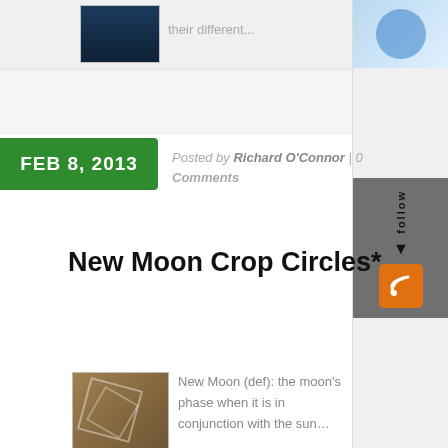[Figure (screenshot): Top strip with book/image thumbnails and partial text 'their different...']
their different...
[Figure (screenshot): Right sidebar follow panel with RSS icon]
FEB 8, 2013
Posted by Richard O'Connor | 0 Comments
New Moon Crop Circles*
[Figure (photo): Thumbnail image of a crop circle formation]
New Moon (def): the moon's phase when it is in conjunction with the sun...